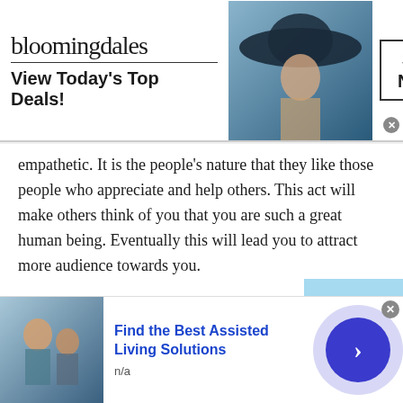[Figure (screenshot): Bloomingdales advertisement banner: logo, 'View Today's Top Deals!' tagline, model with hat, and SHOP NOW button]
empathetic. It is the people's nature that they like those people who appreciate and help others. This act will make others think of you that you are such a great human being. Eventually this will lead you to attract more audience towards you.
4. Be open about yourself:
Being open about yourself means being honest about yourself. This assists in creation of attraction to a maximum level during chat with people of
[Figure (screenshot): Bottom advertisement: Find the Best Assisted Living Solutions, n/a, with image and navigation arrow button]